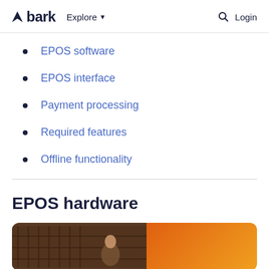bark  Explore  Login
EPOS software
EPOS interface
Payment processing
Required features
Offline functionality
EPOS hardware
[Figure (photo): Photo of a person in a restaurant or bar setting with wine racks in the background, warm orange gradient on the right side]